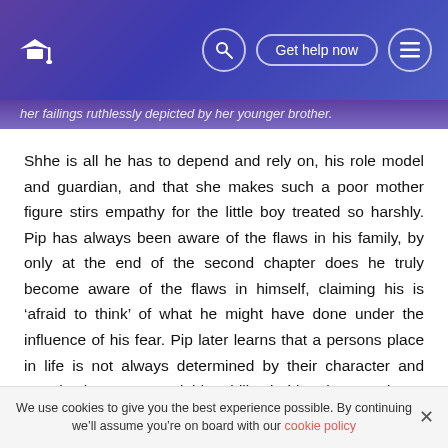[logo] [search] Get help now [menu]
her failings ruthlessly depicted by her younger brother.
Shhe is all he has to depend and rely on, his role model and guardian, and that she makes such a poor mother figure stirs empathy for the little boy treated so harshly. Pip has always been aware of the flaws in his family, by only at the end of the second chapter does he truly become aware of the flaws in himself, claiming his is ‘afraid to think’ of what he might have done under the influence of his fear. Pip later learns that a persons place in life is not always determined by their character and morals, but upon a rigid nobility ladder that condones ignorance and sin by will not tolerate
We use cookies to give you the best experience possible. By continuing we’ll assume you’re on board with our cookie policy